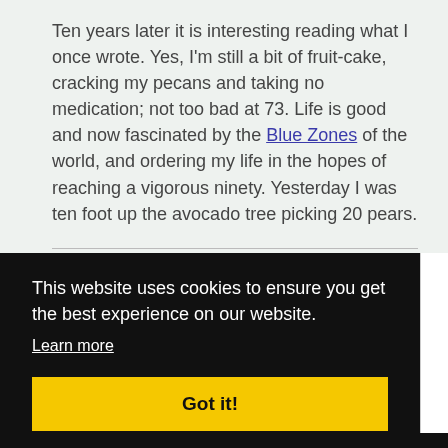Ten years later it is interesting reading what I once wrote. Yes, I'm still a bit of fruit-cake, cracking my pecans and taking no medication; not too bad at 73. Life is good and now fascinated by the Blue Zones of the world, and ordering my life in the hopes of reaching a vigorous ninety. Yesterday I was ten foot up the avocado tree picking 20 pears.
This website uses cookies to ensure you get the best experience on our website. Learn more
Got it!